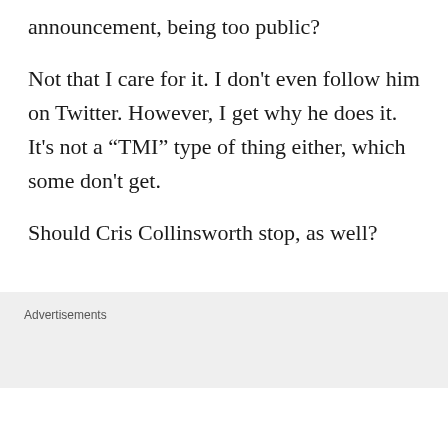announcement, being too public?
Not that I care for it. I don't even follow him on Twitter. However, I get why he does it. It's not a “TMI” type of thing either, which some don't get.
Should Cris Collinsworth stop, as well?
[Figure (screenshot): Embedded tweet card from @CollinsworthPFF (Cris Collinsworth) with verified badge, Follow button, Twitter bird logo, and partial tweet text: 'Congratulations to my daughter Ashley and']
Advertisements